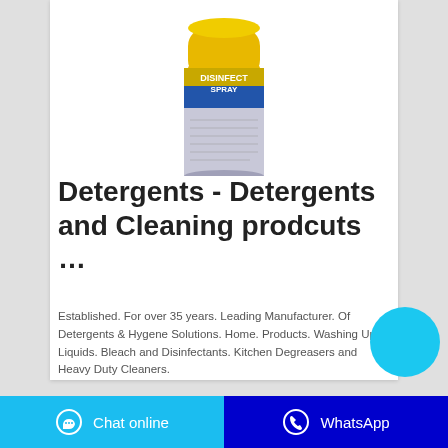[Figure (photo): A disinfectant spray can with a yellow cap and silver/blue body with label text]
Detergents - Detergents and Cleaning prodcuts ...
Established. For over 35 years. Leading Manufacturer. Of Detergents & Hygene Solutions. Home. Products. Washing Up Liquids. Bleach and Disinfectants. Kitchen Degreasers and Heavy Duty Cleaners.
Chat online   WhatsApp